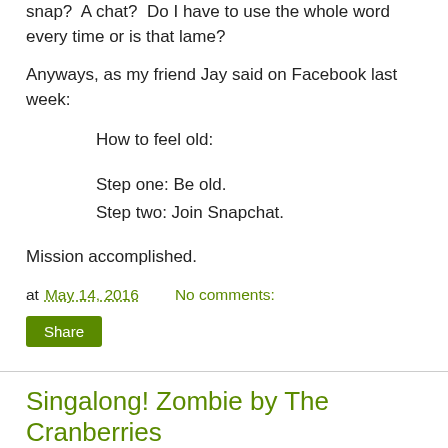snap?  A chat?  Do I have to use the whole word every time or is that lame?
Anyways, as my friend Jay said on Facebook last week:
How to feel old:
Step one: Be old.
Step two: Join Snapchat.
Mission accomplished.
at May 14, 2016    No comments:
Share
Singalong! Zombie by The Cranberries
My main memory of this song is that youthful feeling that there was something really deep and meaningful going on here, but that I had no idea what it was.  I was totally drawn